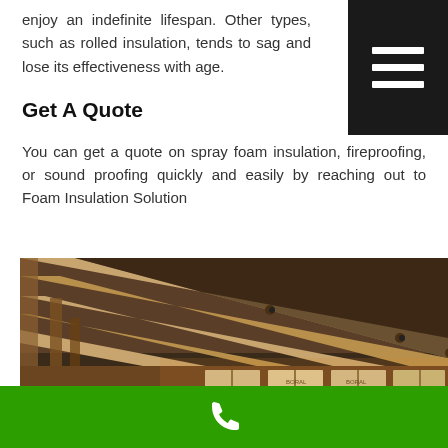enjoy an indefinite lifespan. Other types, such as rolled insulation, tends to sag and lose its effectiveness with age.
[Figure (other): Dark hamburger menu button icon with three white horizontal bars on black background, positioned top right]
Get A Quote
You can get a quote on spray foam insulation, fireproofing, or sound proofing quickly and easily by reaching out to Foam Insulation Solution
[Figure (photo): Interior view of a building under construction showing wooden roof rafters/trusses in a barn or attic-style space, with light coming through windows along the lower wall]
[Figure (other): Green footer bar with white phone/call icon in the center]